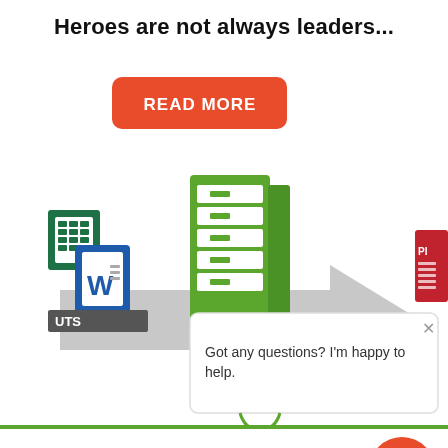Heroes are not always leaders...
[Figure (infographic): Screenshot of a document conversion tool webpage showing: a red 'READ MORE' button, an infographic with file format icons (Excel, Word) feeding into a green server/database stack with a large grey arrow pointing right toward partially visible PDF output, a chat popup bubble saying 'Got any questions? I'm happy to help.' with an X close button, an orange chat bubble icon in bottom-right, and bottom navigation labels reading 'NVERT', 'COMBINE', 'ENH' (partially cut off) in bold green on a white bar with a green top border.]